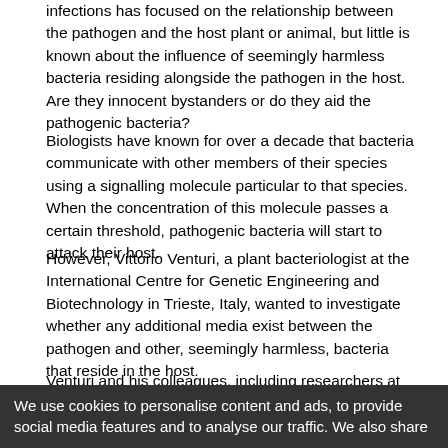infections has focused on the relationship between the pathogen and the host plant or animal, but little is known about the influence of seemingly harmless bacteria residing alongside the pathogen in the host. Are they innocent bystanders or do they aid the pathogenic bacteria?
Biologists have known for over a decade that bacteria communicate with other members of their species using a signalling molecule particular to that species. When the concentration of this molecule passes a certain threshold, pathogenic bacteria will start to attack their host.
However, Vittorio Venturi, a plant bacteriologist at the International Centre for Genetic Engineering and Biotechnology in Trieste, Italy, wanted to investigate whether any additional media exist between the pathogen and other, seemingly harmless, bacteria that reside in the host.
Venturi and his colleagues, including researchers at the Hassan II Institute of Agriculture and Veterinary Medicine, Morocco, examined the interaction between the pathogen Pseudomonas savastanoi (Psv) — which causes olive knot disease that infects a variety of plants and disrupts agriculture in the Middle East and Southern Europe — and two other resident bacterial species often found in olive knot, Pantoea agglomerans and Erwinia toletana.
The team inactivated the pathogen so that it could not release its
We use cookies to personalise content and ads, to provide social media features and to analyse our traffic. We also share